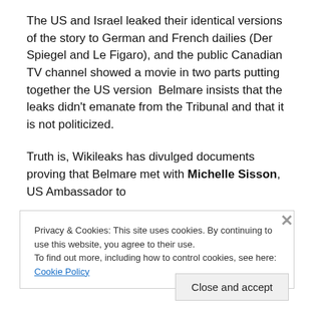The US and Israel leaked their identical versions of the story to German and French dailies (Der Spiegel and Le Figaro), and the public Canadian TV channel showed a movie in two parts putting together the US version  Belmare insists that the leaks didn't emanate from the Tribunal and that it is not politicized.
Truth is, Wikileaks has divulged documents proving that Belmare met with Michelle Sisson, US Ambassador to
Privacy & Cookies: This site uses cookies. By continuing to use this website, you agree to their use.
To find out more, including how to control cookies, see here: Cookie Policy
Close and accept